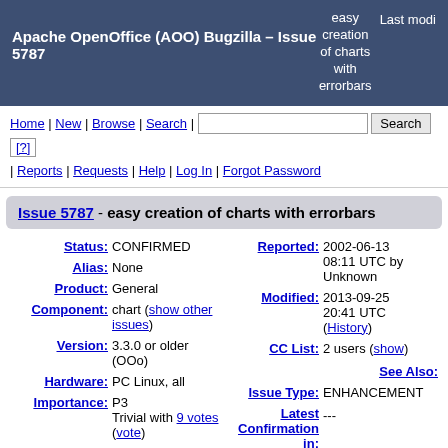Apache OpenOffice (AOO) Bugzilla – Issue 5787 easy creation of charts with errorbars Last modi
Home | New | Browse | Search | [Search button] [?] | Reports | Requests | Help | Log In | Forgot Password
Issue 5787 - easy creation of charts with errorbars
Status: CONFIRMED
Reported: 2002-06-13 08:11 UTC by Unknown
Alias: None
Modified: 2013-09-25 20:41 UTC (History)
Product: General
CC List: 2 users (show)
Component: chart (show other issues)
See Also:
Version: 3.3.0 or older (OOo)
Issue Type: ENHANCEMENT
Hardware: PC Linux, all
Latest Confirmation in: ---
Importance: P3 Trivial with 9 votes (vote)
Developer Difficulty: ---
Target Milestone: ---
Assignee: AOO issues mailing list